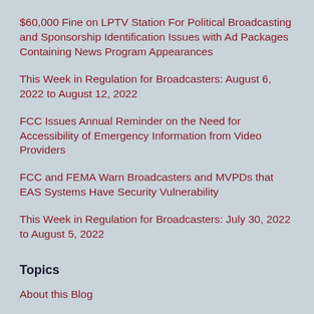$60,000 Fine on LPTV Station For Political Broadcasting and Sponsorship Identification Issues with Ad Packages Containing News Program Appearances
This Week in Regulation for Broadcasters: August 6, 2022 to August 12, 2022
FCC Issues Annual Reminder on the Need for Accessibility of Emergency Information from Video Providers
FCC and FEMA Warn Broadcasters and MVPDs that EAS Systems Have Security Vulnerability
This Week in Regulation for Broadcasters: July 30, 2022 to August 5, 2022
Topics
About this Blog
Advertising Issues